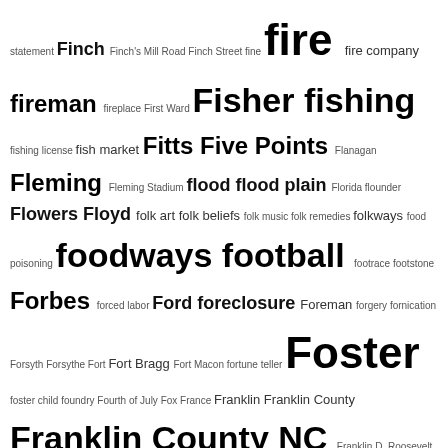statement Finch Finch's Mill Road Finch Street fine fire fire company fireman fireplace First Ward Fisher fishing fishing license fish market Fitts Five Points Flanagan Fleming Fleming Stadium flood flood plain Florida flounder Flowers Floyd folk art folk beliefs folk music folk remedies folkways food poisoning foodways football footrace footstone Forbes forced labor Ford foreclosure Foreman forgery fornication Forsyth Forsythe Fort Fort Bragg Fort Macon fortune teller Foster foster child foundry Fourth of July Fox France Franklin Franklin County Franklin County NC Franklin D. Roosevelt fraternal organization fratricide fraud Frederick Douglass High School free-for-all freedmen Freedmen's Bank Freedmen's Bureau Freeman Freeman Round House Freeman Roundhouse Freeman Vines free pass free people of color Freewill Baptist church Free Will Baptist church freight car freight train hopping friendship Friends of East End Cemetery Friends of Geer Cemetery Friends of the Archives frostbite fugitive Fulcher Fulghum Fuller